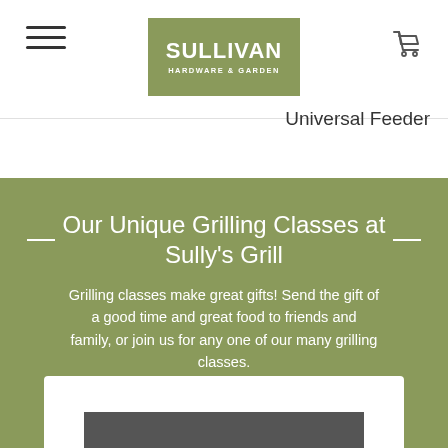Sullivan Hardware & Garden
Universal Feeder
Our Unique Grilling Classes at Sully's Grill
Grilling classes make great gifts! Send the gift of a good time and great food to friends and family, or join us for any one of our many grilling classes.
[Figure (photo): White card with a dark gray bar at bottom, partially visible at the bottom of the green section]